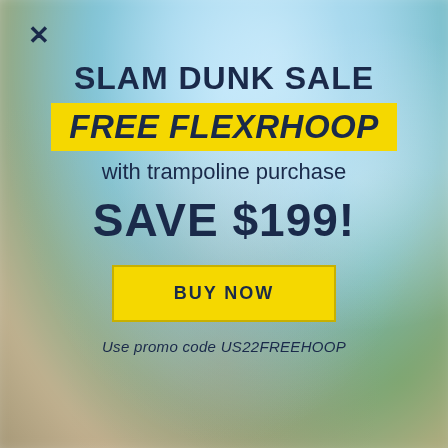[Figure (illustration): Blurred outdoor background with sky, greenery, and brown/earth tones]
×
SLAM DUNK SALE
FREE FLEXRHOOP
with trampoline purchase
SAVE $199!
BUY NOW
Use promo code US22FREEHOOP